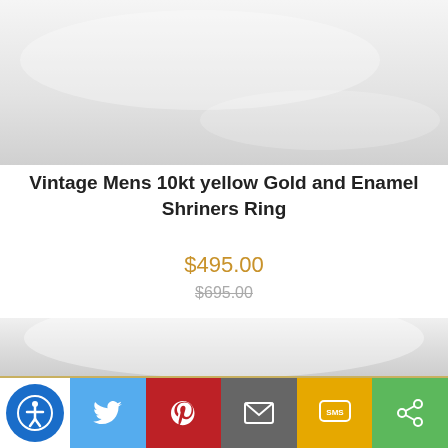[Figure (photo): Product image of a vintage Shriners ring on a white/grey marble background, top portion]
Vintage Mens 10kt yellow Gold and Enamel Shriners Ring
$495.00
$695.00
[Figure (photo): Close-up product image of a gold ring with gemstones/crystals on white background, bottom portion]
[Figure (infographic): Social sharing bar with accessibility icon, Twitter, Pinterest, Email, SMS, and Share buttons]